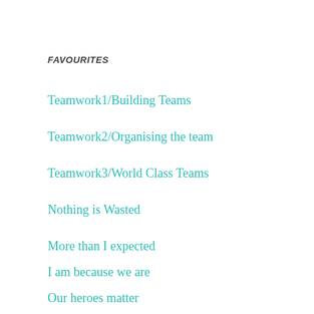FAVOURITES
Teamwork1/Building Teams
Teamwork2/Organising the team
Teamwork3/World Class Teams
Nothing is Wasted
More than I expected
I am because we are
Our heroes matter
Our Singing Curriculum